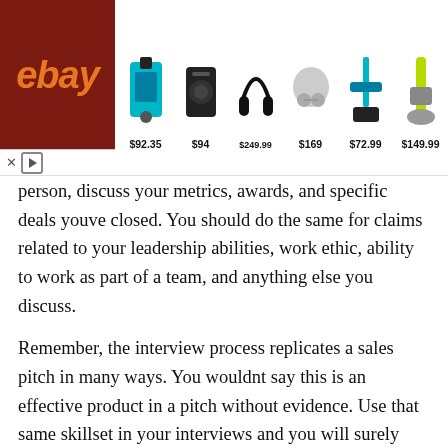[Figure (other): eBay advertisement banner showing products: power drill set ($92.35), Bose speaker ($94), Sony headphones ($249.99), earbuds ($169), power tool ($72.99), vacuum cleaner ($149.99)]
person, discuss your metrics, awards, and specific deals youve closed. You should do the same for claims related to your leadership abilities, work ethic, ability to work as part of a team, and anything else you discuss.
Remember, the interview process replicates a sales pitch in many ways. You wouldnt say this is an effective product in a pitch without evidence. Use that same skillset in your interviews and you will surely stand out.
Also Check: What Good Interview Questions To Ask
Stand Out In An Interview With